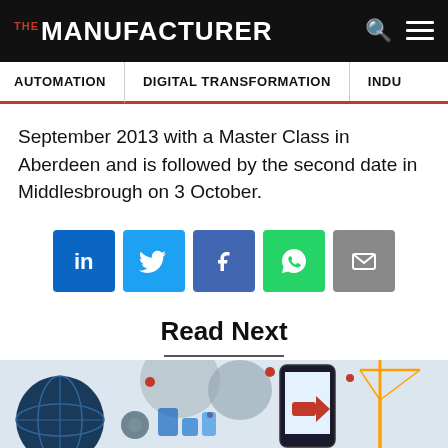THE MANUFACTURER
AUTOMATION | DIGITAL TRANSFORMATION | INDU...
September 2013 with a Master Class in Aberdeen and is followed by the second date in Middlesbrough on 3 October.
[Figure (infographic): Social share buttons: LinkedIn (blue), Twitter (light blue), Facebook (dark blue), WhatsApp (green), Email (grey)]
Read Next
[Figure (illustration): Illustrated image showing a globe, mobile phone with arrow, industrial crane, and digital/manufacturing themed icons in blue, red and grey colours]